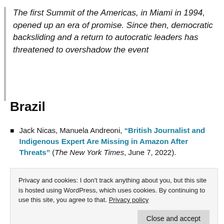The first Summit of the Americas, in Miami in 1994, opened up an era of promise. Since then, democratic backsliding and a return to autocratic leaders has threatened to overshadow the event
Brazil
Jack Nicas, Manuela Andreoni, “British Journalist and Indigenous Expert Are Missing in Amazon After Threats” (The New York Times, June 7, 2022).
Dom Phillips and Bruno Araújo Pereira were last
Privacy and cookies: I don’t track anything about you, but this site is hosted using WordPress, which uses cookies. By continuing to use this site, you agree to that. Privacy policy
Colombia
Samantha Schmidt, “The Trump-Like Tikto Star